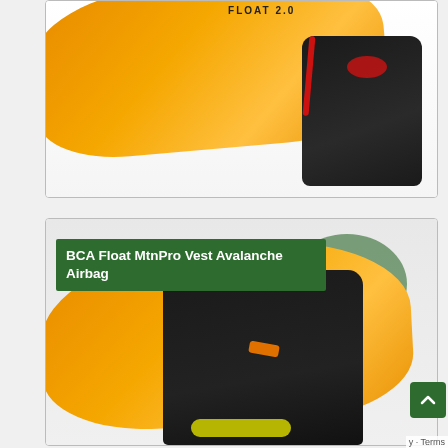[Figure (photo): BCA Float 2.0 avalanche airbag backpack shown with inflated orange airbag deployed behind a black backpack with red accents and BCA logo]
[Figure (photo): BCA Float MtnPro Vest Avalanche Airbag product photo showing black vest with yellow BCA logo and orange inflated airbag deployed behind it, with FLOAT 2.0 text visible]
BCA Float MtnPro Vest Avalanche Airbag